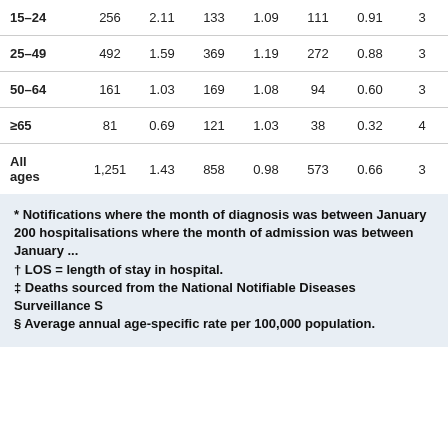| Age group | Col1 | Col2 | Col3 | Col4 | Col5 | Col6 | Col7 |
| --- | --- | --- | --- | --- | --- | --- | --- |
| 15–24 | 256 | 2.11 | 133 | 1.09 | 111 | 0.91 | 3 |
| 25–49 | 492 | 1.59 | 369 | 1.19 | 272 | 0.88 | 3 |
| 50–64 | 161 | 1.03 | 169 | 1.08 | 94 | 0.60 | 3 |
| ≥65 | 81 | 0.69 | 121 | 1.03 | 38 | 0.32 | 4 |
| All ages | 1,251 | 1.43 | 858 | 0.98 | 573 | 0.66 | 3 |
* Notifications where the month of diagnosis was between January 200... hospitalisations where the month of admission was between January ...
† LOS = length of stay in hospital.
‡ Deaths sourced from the National Notifiable Diseases Surveillance S...
§ Average annual age-specific rate per 100,000 population.